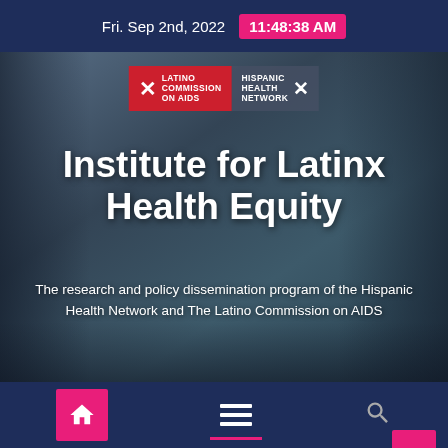Fri. Sep 2nd, 2022  11:48:38 AM
[Figure (photo): Banner image showing people wearing masks holding health-related posters outdoors, with logos for Latino Commission on AIDS and Hispanic Health Network overlaid, along with title text 'Institute for Latinx Health Equity' and subtitle text.]
Institute for Latinx Health Equity
The research and policy dissemination program of the Hispanic Health Network and The Latino Commission on AIDS
Navigation bar with home, menu, and search icons